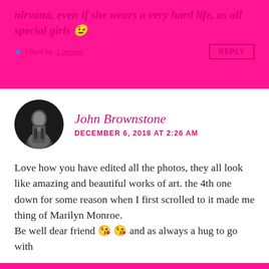nirvana, even if she wears a very hard life, as all special girls 😉
Liked by 1person  REPLY
John Brownstone
DECEMBER 6, 2018 AT 2:26 AM
Love how you have edited all the photos, they all look like amazing and beautiful works of art. the 4th one down for some reason when I first scrolled to it made me thing of Marilyn Monroe.
Be well dear friend 😘😘 and as always a hug to go with
Liked by 1person  REPLY